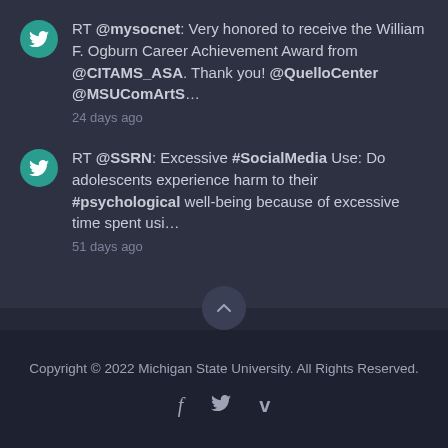RT @mysocnet: Very honored to receive the William F. Ogburn Career Achievement Award from @CITAMS_ASA. Thank you! @QuelloCenter @MSUComArtS...
24 days ago
RT @SSRN: Excessive #SocialMedia Use: Do adolescents experience harm to their #psychological well-being because of excessive time spent usi...
51 days ago
Copyright © 2022 Michigan State University. All Rights Reserved.